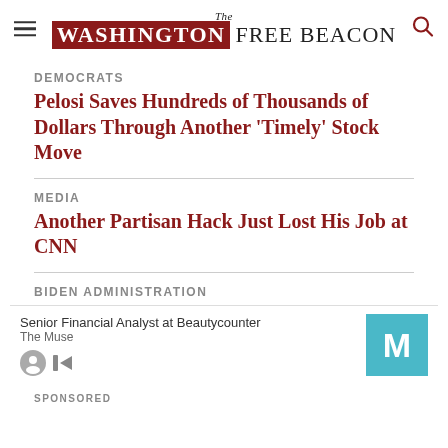The Washington Free Beacon
DEMOCRATS
Pelosi Saves Hundreds of Thousands of Dollars Through Another 'Timely' Stock Move
MEDIA
Another Partisan Hack Just Lost His Job at CNN
BIDEN ADMINISTRATION
WATCH: Biden's Senior Moment of
Senior Financial Analyst at Beautycounter
The Muse
SPONSORED